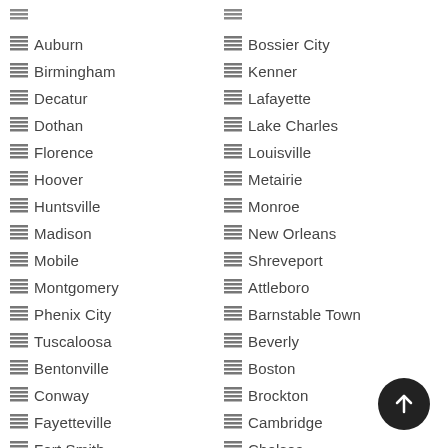Auburn
Birmingham
Decatur
Dothan
Florence
Hoover
Huntsville
Madison
Mobile
Montgomery
Phenix City
Tuscaloosa
Bentonville
Conway
Fayetteville
Fort Smith
Bossier City
Kenner
Lafayette
Lake Charles
Louisville
Metairie
Monroe
New Orleans
Shreveport
Attleboro
Barnstable Town
Beverly
Boston
Brockton
Cambridge
Chelsea